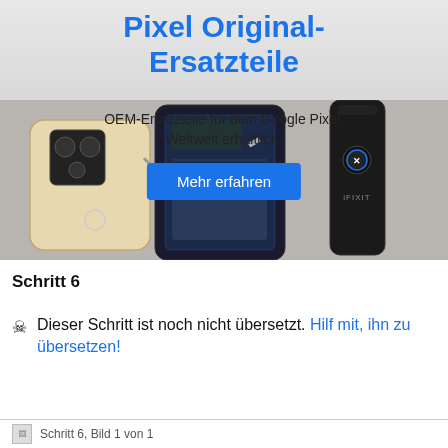[Figure (photo): Advertisement banner for 'Pixel Original-Ersatzteile' (Pixel OEM replacement parts). Shows a disassembled Google Pixel phone with components laid out, alongside an iFixit tool. Blue title text reads 'Pixel Original-Ersatzteile'. Subtitle: 'OEM-Ersatzteile für dein Google Pixel. Weltweit erhältlich.' A blue 'Mehr erfahren' button is overlaid.]
Schritt 6
Dieser Schritt ist noch nicht übersetzt. Hilf mit, ihn zu übersetzen!
Schritt 6, Bild 1 von 1